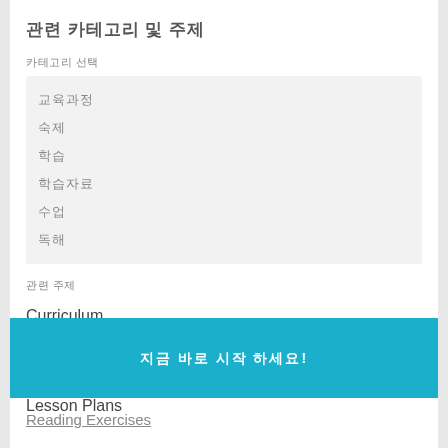관련 카테고리 및 주제
카테고리 선택
교육과정
숙제
학습
학습자료
수업
독해
관련 주제
Curriculum
Homework
Learning Materials
Lesson Plans
지금 바로 시작 하세요!
Reading Exercises